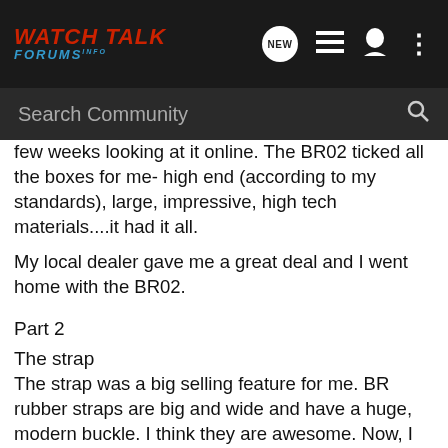WATCH TALK FORUMS INFO
Search Community
few weeks looking at it online. The BR02 ticked all the boxes for me- high end (according to my standards), large, impressive, high tech materials....it had it all.
My local dealer gave me a great deal and I went home with the BR02.
Part 2
The strap
The strap was a big selling feature for me. BR rubber straps are big and wide and have a huge, modern buckle. I think they are awesome. Now, I bought my BR to wear to work with a suit. Is a 44mm diver with a big rubber strap appropriate to wear with a business suit? Yes!!! It really looks amazing with a suit, or with short sleeves. A good watch looks good with anything.